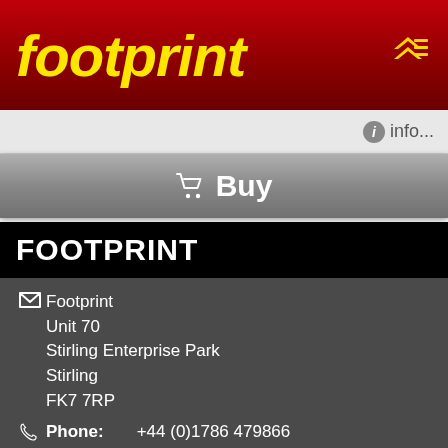footprint
info...
Buy
FOOTPRINT
Footprint
Unit 70
Sterling Enterprise Park
Stirling
FK7 7RP
Phone: +44 (0)1786 479866
Email: info@footprintmaps.co.uk
Buy our maps online from www.cordee.co.uk